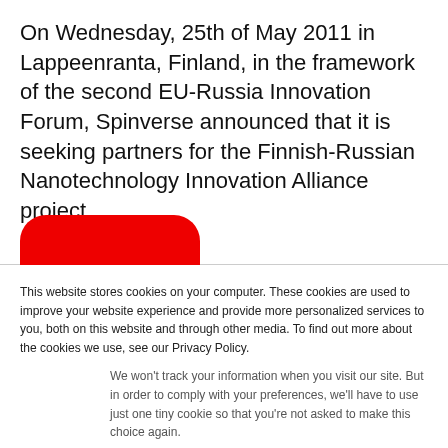On Wednesday, 25th of May 2011 in Lappeenranta, Finland, in the framework of the second EU-Russia Innovation Forum, Spinverse announced that it is seeking partners for the Finnish-Russian Nanotechnology Innovation Alliance project.
This website stores cookies on your computer. These cookies are used to improve your website experience and provide more personalized services to you, both on this website and through other media. To find out more about the cookies we use, see our Privacy Policy.
We won't track your information when you visit our site. But in order to comply with your preferences, we'll have to use just one tiny cookie so that you're not asked to make this choice again.
Accept
Decline